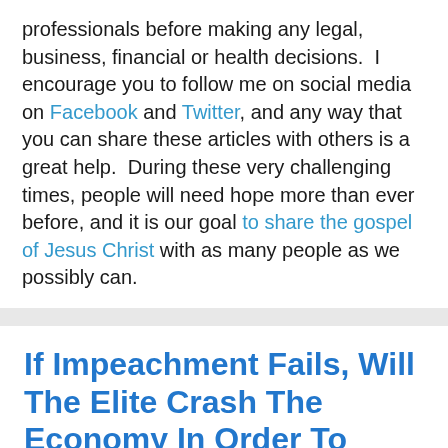professionals before making any legal, business, financial or health decisions.  I encourage you to follow me on social media on Facebook and Twitter, and any way that you can share these articles with others is a great help.  During these very challenging times, people will need hope more than ever before, and it is our goal to share the gospel of Jesus Christ with as many people as we possibly can.
If Impeachment Fails, Will The Elite Crash The Economy In Order To Prevent Four More Years Of Trump?